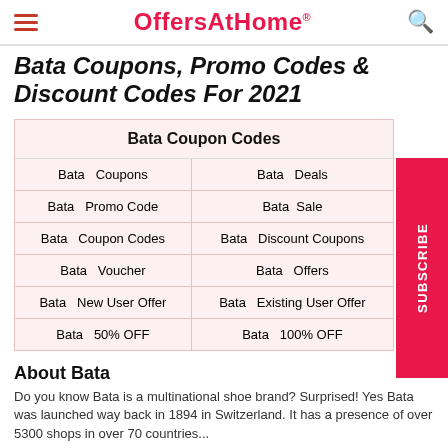OffersAtHome®
Bata Coupons, Promo Codes & Discount Codes For 2021
| Bata Coupon Codes |
| --- |
| Bata  Coupons | Bata  Deals |
| Bata  Promo Code | Bata  Sale |
| Bata  Coupon Codes | Bata  Discount Coupons |
| Bata  Voucher | Bata  Offers |
| Bata  New User Offer | Bata  Existing User Offer |
| Bata  50% OFF | Bata  100% OFF |
About Bata
Do you know Bata is a multinational shoe brand? Surprised! Yes Bata was launched way back in 1894 in Switzerland. It has a presence of over 5300 shops in over 70 countries...